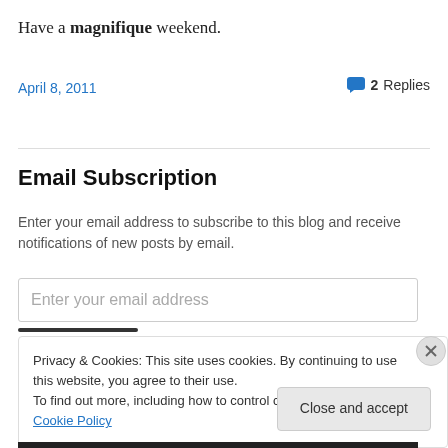Have a magnifique weekend.
April 8, 2011
2 Replies
Email Subscription
Enter your email address to subscribe to this blog and receive notifications of new posts by email.
Enter your email address
Privacy & Cookies: This site uses cookies. By continuing to use this website, you agree to their use.
To find out more, including how to control cookies, see here: Cookie Policy
Close and accept